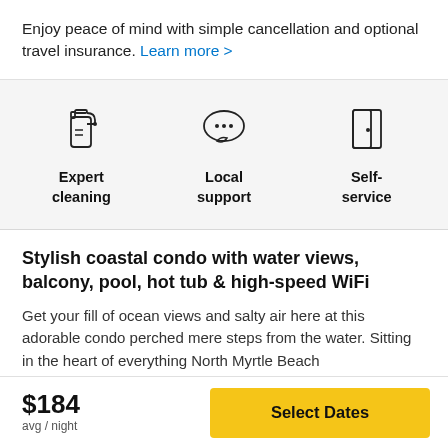Enjoy peace of mind with simple cancellation and optional travel insurance. Learn more >
[Figure (infographic): Three icons with labels: spray bottle (Expert cleaning), speech bubble with dots (Local support), door (Self-service)]
Stylish coastal condo with water views, balcony, pool, hot tub & high-speed WiFi
Get your fill of ocean views and salty air here at this adorable condo perched mere steps from the water. Sitting in the heart of everything North Myrtle Beach
$184
avg / night
Select Dates